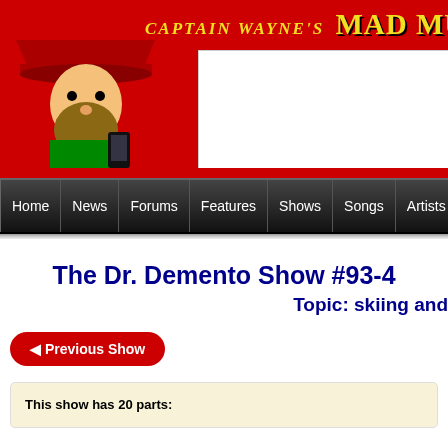Captain Wayne's Mad Music.com
[Figure (illustration): Pirate character mascot (Captain Wayne) illustration on red background with an iPhone/smartphone]
[Figure (other): White advertisement box]
Home | News | Forums | Features | Shows | Songs | Artists | Videos
The Dr. Demento Show #93-4
Topic: skiing and
◄ Previous Show
This show has 20 parts: